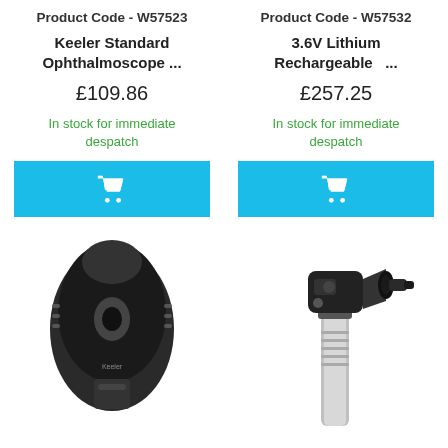Product Code - W57523
Keeler Standard Ophthalmoscope ...
£109.86
In stock for immediate despatch
[Figure (illustration): Shopping cart add-to-cart button (cyan/blue background) for first product]
Product Code - W57532
3.6V Lithium Rechargeable   ...
£257.25
In stock for immediate despatch
[Figure (illustration): Shopping cart add-to-cart button (cyan/blue background) for second product]
[Figure (photo): Close-up top view of a Keeler ophthalmoscope, dark/black device with Practitioner label]
[Figure (photo): Side view of a 3.6V Lithium Rechargeable otoscope/ophthalmoscope instrument, black head on metal handle]